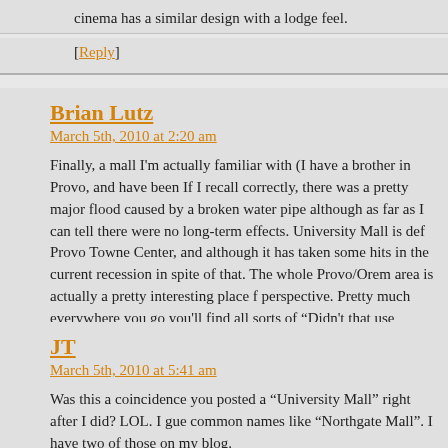cinema has a similar design with a lodge feel.
[Reply]
Brian Lutz
March 5th, 2010 at 2:20 am
Finally, a mall I'm actually familiar with (I have a brother in Provo, and have been If I recall correctly, there was a pretty major flood caused by a broken water pipe although as far as I can tell there were no long-term effects. University Mall is def Provo Towne Center, and although it has taken some hits in the current recession in spite of that. The whole Provo/Orem area is actually a pretty interesting place f perspective. Pretty much everywhere you go you'll find all sorts of “Didn't that use
[Reply]
JT
March 5th, 2010 at 5:41 am
Was this a coincidence you posted a “University Mall” right after I did? LOL. I gue common names like “Northgate Mall”. I have two of those on my blog.
[Reply]